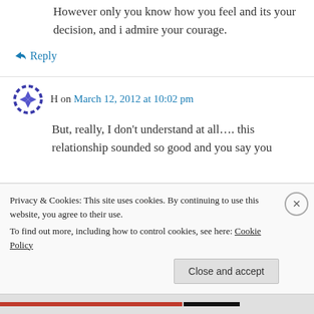However only you know how you feel and its your decision, and i admire your courage.
↳ Reply
H on March 12, 2012 at 10:02 pm
But, really, I don't understand at all…. this relationship sounded so good and you say you
Privacy & Cookies: This site uses cookies. By continuing to use this website, you agree to their use.
To find out more, including how to control cookies, see here: Cookie Policy
Close and accept